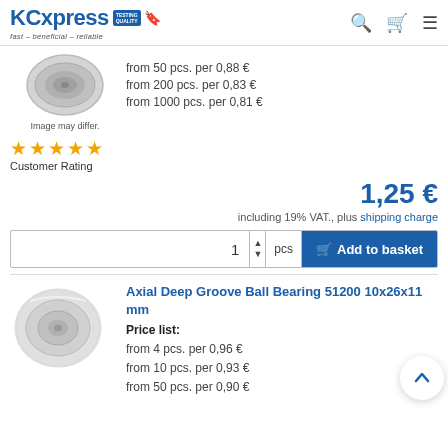KCexpress fast – beneficial – reliable
[Figure (photo): Ball bearing product image, top view, silver metallic]
Image may differ.
from 50 pcs. per 0,88 €
from 200 pcs. per 0,83 €
from 1000 pcs. per 0,81 €
[Figure (other): Five orange stars customer rating]
Customer Rating
1,25 €
including 19% VAT., plus shipping charge
1 pcs Add to basket
[Figure (photo): Axial deep groove ball bearing 51200 photo]
Axial Deep Groove Ball Bearing 51200 10x26x11 mm
Price list:
from 4 pcs. per 0,96 €
from 10 pcs. per 0,93 €
from 50 pcs. per 0,90 €